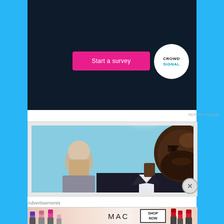[Figure (screenshot): Dark navy survey ad banner with 'Start a survey' pink button on left and Crowdsignal circular logo on right]
REPORT THIS AD
[Figure (photo): Movie/TV still showing two men outdoors — one Black man with a beard in a dark suit in foreground, one bald white man behind him, bright sun in background]
Advertisements
[Figure (screenshot): MAC cosmetics advertisement showing colorful lipsticks on left, MAC logo in center, SHOP NOW box on right, red lipstick on far right]